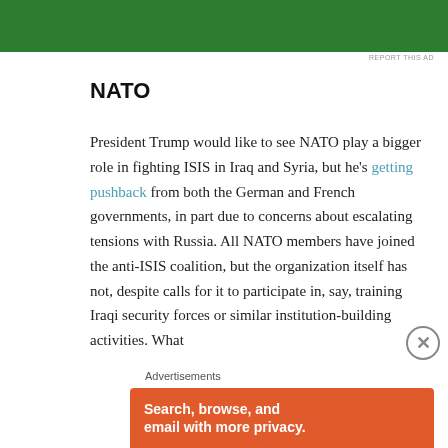[Figure (other): Green advertisement banner at top of page]
REPORT THIS AD
NATO
President Trump would like to see NATO play a bigger role in fighting ISIS in Iraq and Syria, but he's getting pushback from both the German and French governments, in part due to concerns about escalating tensions with Russia. All NATO members have joined the anti-ISIS coalition, but the organization itself has not, despite calls for it to participate in, say, training Iraqi security forces or similar institution-building activities. What
Advertisements
[Figure (other): DuckDuckGo advertisement: Search, browse, and email with more privacy.]